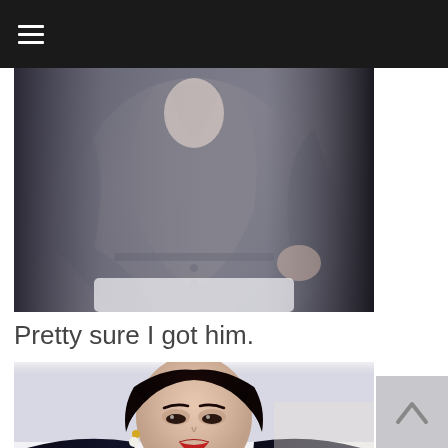☰ (hamburger menu icon)
[Figure (photo): A person wearing a loose white draped shirt with blue-grey accents, seated pose, cropped to torso area. Outfit includes white trousers. Background is dark on the sides.]
Pretty sure I got him.
[Figure (photo): Close-up portrait of a young Asian man with dark short hair, wearing a dark navy/black velvet jacket, gold and pearl earrings, and red lip color. Expression is intense and direct. Light background.]